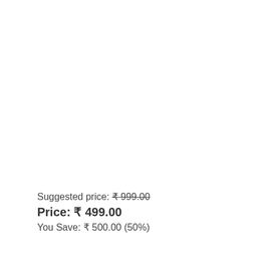Suggested price: ₹999.00
Price: ₹ 499.00
You Save: ₹ 500.00 (50%)